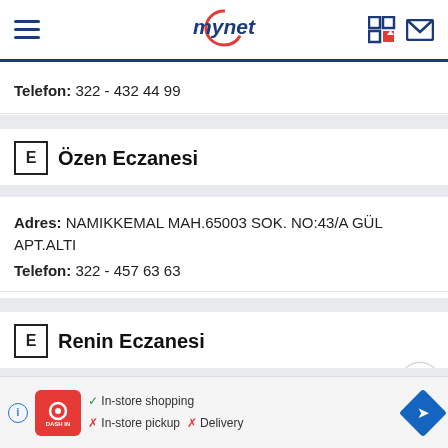mynet
Telefon: 322 - 432 44 99
Özen Eczanesi
Adres: NAMIKKEMAL MAH.65003 SOK. NO:43/A GÜL APT.ALTI
Telefon: 322 - 457 63 63
Renin Eczanesi
[Figure (screenshot): Advertisement banner: Dash In store with checkmarks. In-store shopping ✓, In-store pickup ✗, Delivery ✗]